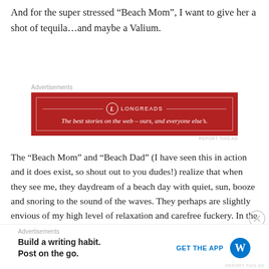And for the super stressed “Beach Mom”, I want to give her a shot of tequila…and maybe a Valium.
[Figure (other): Longreads advertisement banner with red background. Logo and text: 'LONGREADS - The best stories on the web – ours, and everyone else’s.']
The “Beach Mom” and “Beach Dad” (I have seen this in action and it does exist, so shout out to you dudes!) realize that when they see me, they daydream of a beach day with quiet, sun, booze and snoring to the sound of the waves. They perhaps are slightly envious of my high level of relaxation and carefree fuckery. In the words of one of my idols, Lil Kim “If I
[Figure (other): WordPress advertisement: 'Build a writing habit. Post on the go.' with GET THE APP button and WordPress logo.]